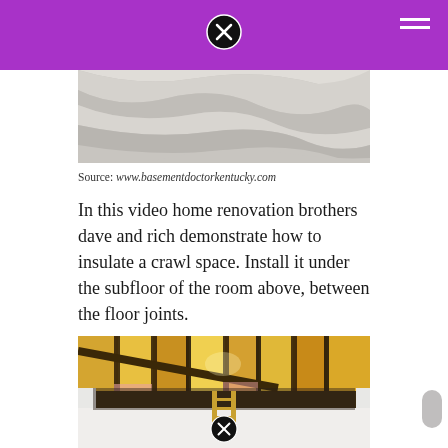[Figure (photo): Top portion of a photo showing crinkled white plastic sheeting or vapor barrier material in a crawl space]
Source: www.basementdoctorkentucky.com
In this video home renovation brothers dave and rich demonstrate how to insulate a crawl space. Install it under the subfloor of the room above, between the floor joints.
[Figure (photo): Interior of a crawl space showing yellow fiberglass batt insulation installed between floor joists overhead, with white plastic vapor barrier on the walls, and a wooden ladder visible in the center]